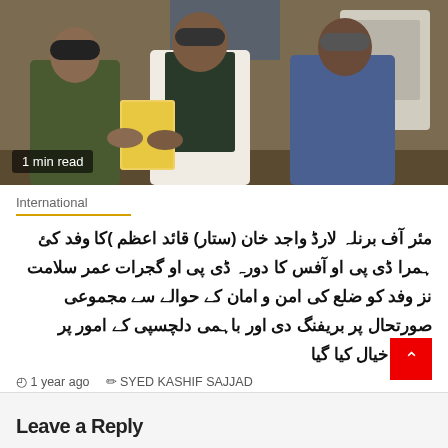[Figure (photo): Three men standing together, one in military/police uniform holding a document, one in traditional Pakistani dress (shalwar kameez and vest), one in a blue suit jacket. All wearing face masks. Indoor setting with wooden paneling in background.]
1 min read
International
مئر آف برنلہ لارڈ واجد خان (ستار) قائد اعظم )کا وفد کئ ہمرا ڈی پی او آفس کا دورہ ڈی پی او گجرات عمر سلامت نز وفد کو ضلع کی امن و امان کے حوالے سے مجموعی صورتحال پر بریفنگ دی اور باہمی دلچسپی کے امور پر تبادلہ خیال کیا گیا
1 year ago   SYED KASHIF SAJJAD